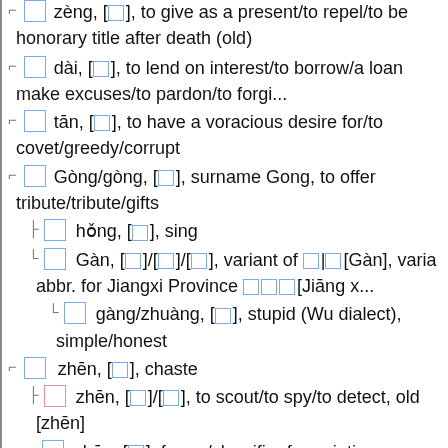zeng, [□], to give as a present/to repel/to be honorary title after death (old)
dài, [□], to lend on interest/to borrow/a loan make excuses/to pardon/to forgi...
tān, [□], to have a voracious desire for/to covet/greedy/corrupt
Gòng/gòng, [□], surname Gong, to offer tribute/tribute/gifts
hǒng, [□], sing
Gàn, [□]/[□]/[□], variant of □|□[Gàn], varia abbr. for Jiangxi Province □□□[Jiāng x...
gàng/zhuàng, [□], stupid (Wu dialect), simple/honest
zhēn, [□], chaste
zhēn, [□]/[□], to scout/to spy/to detect, old [zhēn]
zhēn, [□], frame/classifier for paintings e [zhèng]
zhēn, [□], auspicious/lucky